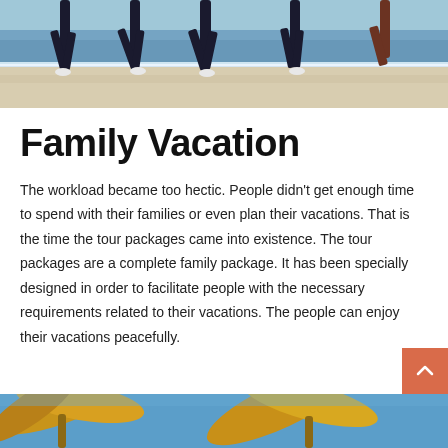[Figure (photo): People running on a beach with water and sand visible, shot from a low angle showing legs and feet]
Family Vacation
The workload became too hectic. People didn't get enough time to spend with their families or even plan their vacations. That is the time the tour packages came into existence. The tour packages are a complete family package. It has been specially designed in order to facilitate people with the necessary requirements related to their vacations. The people can enjoy their vacations peacefully.
[Figure (photo): Tropical beach scene with palm trees visible at the bottom of the page]